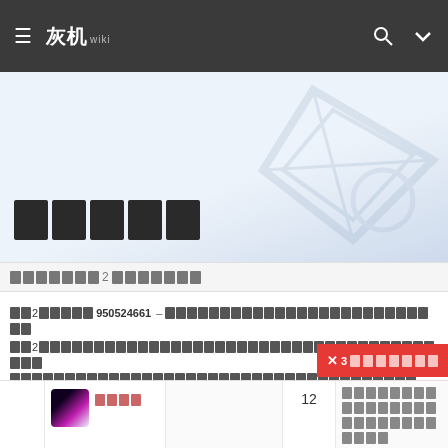灰机wiki — navigation bar
[Figure (screenshot): Hero banner section with stylized Chinese characters title (5 boxes) and decorative background graphic]
□□□□□□□2□□□□□□□
□□2□□□□□ 950524661 - □□□□□□□□□□□□□□□□□□□□□□□□□□□□□□□□□□□□□□□□□□
□□2□□□□□□□□□□□□□□□□□□□□□□□□□□□□□□□□□□□□□□□□□□□
□□□□□□□□□□□□□□□□□□□□□□□□□□□□□□□□□□□
✕3□□□□□□□□
|  | 用户 | 内容 | 12 | 信息 |
| --- | --- | --- | --- | --- |
|  | □□□□ |  | 12 | □□□□□□□□
□□□□□□□□
□□□□□□□□
□□□□
□□□□□□□ |